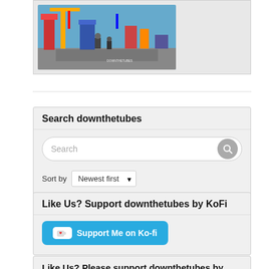[Figure (illustration): A colorful comic-style illustration showing a busy scene with robots or machines, red and blue structures, characters, in a bright pop-art style.]
Search downthetubes
Search
Sort by Newest first
Like Us? Support downthetubes by KoFi
Support Me on Ko-fi
Like Us? Please support downthetubes by PayPal